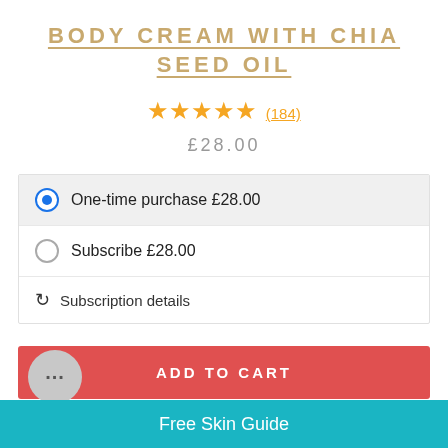BODY CREAM WITH CHIA SEED OIL
★★★★★ (184)
£28.00
One-time purchase £28.00
Subscribe  £28.00
Subscription details
ADD TO CART
Free Skin Guide